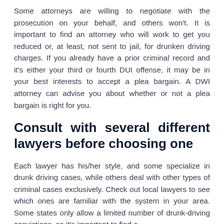Some attorneys are willing to negotiate with the prosecution on your behalf, and others won't. It is important to find an attorney who will work to get you reduced or, at least, not sent to jail, for drunken driving charges. If you already have a prior criminal record and it's either your third or fourth DUI offense, it may be in your best interests to accept a plea bargain. A DWI attorney can advise you about whether or not a plea bargain is right for you.
Consult with several different lawyers before choosing one
Each lawyer has his/her style, and some specialize in drunk driving cases, while others deal with other types of criminal cases exclusively. Check out local lawyers to see which ones are familiar with the system in your area. Some states only allow a limited number of drunk-driving convictions, so it's important to find a